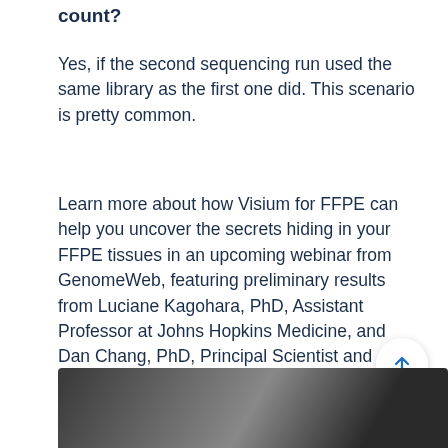count?
Yes, if the second sequencing run used the same library as the first one did. This scenario is pretty common.
Learn more about how Visium for FFPE can help you uncover the secrets hiding in your FFPE tissues in an upcoming webinar from GenomeWeb, featuring preliminary results from Luciane Kagohara, PhD, Assistant Professor at Johns Hopkins Medicine, and Dan Chang, PhD, Principal Scientist and Single-Cell Sequencing Lead at Merck Research Laboratories. Register now →
[Figure (photo): Dark scientific/laboratory equipment photo at bottom of page]